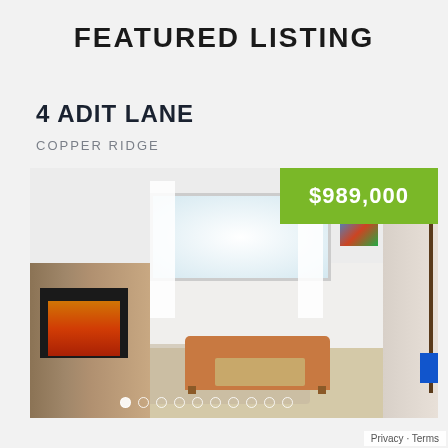FEATURED LISTING
4 ADIT LANE
COPPER RIDGE
[Figure (photo): Interior photo of a modern living room with stone fireplace on left, orange leather sofa, wooden coffee table, large windows with white curtains, colorful artwork on wall, and staircase on the right. Price badge showing $989,000 in green overlay top right. Navigation dots at bottom.]
Privacy · Terms